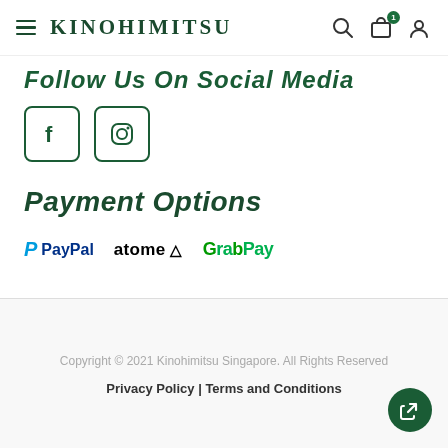Kinohimitsu
Follow Us On Social Media
[Figure (illustration): Facebook and Instagram social media icon buttons in green rounded square borders]
Payment Options
[Figure (logo): PayPal, Atome, and GrabPay payment logos displayed in a row]
Copyright © 2021 Kinohimitsu Singapore. All Rights Reserved
Privacy Policy | Terms and Conditions